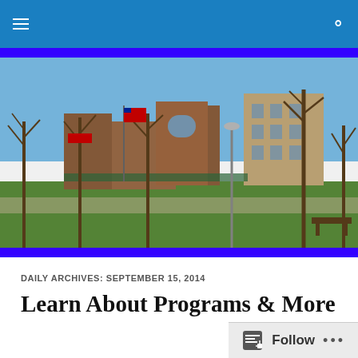Navigation bar with hamburger menu and search icon
[Figure (photo): Outdoor photo of a town square or downtown area with brick commercial buildings, bare trees, lamp posts, a green lawn/park area, and blue sky. A YMCA flag and other flags are visible. Multi-story brick buildings including a tan/beige building on the right side.]
DAILY ARCHIVES: SEPTEMBER 15, 2014
Learn About Programs & More
Follow ...